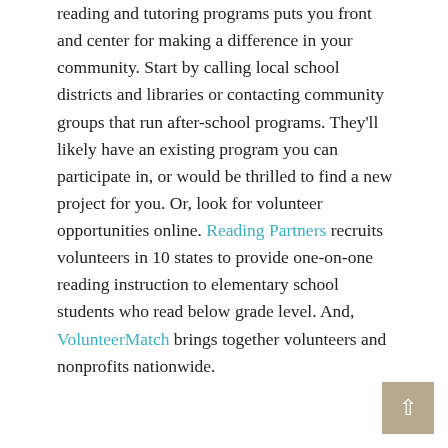reading and tutoring programs puts you front and center for making a difference in your community. Start by calling local school districts and libraries or contacting community groups that run after-school programs. They'll likely have an existing program you can participate in, or would be thrilled to find a new project for you. Or, look for volunteer opportunities online. Reading Partners recruits volunteers in 10 states to provide one-on-one reading instruction to elementary school students who read below grade level. And, VolunteerMatch brings together volunteers and nonprofits nationwide.